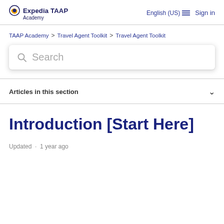Expedia TAAP Academy  English (US)  Sign in
TAAP Academy > Travel Agent Toolkit > Travel Agent Toolkit
[Figure (other): Search bar with magnifying glass icon and placeholder text 'Search']
Articles in this section
Introduction [Start Here]
Updated · 1 year ago